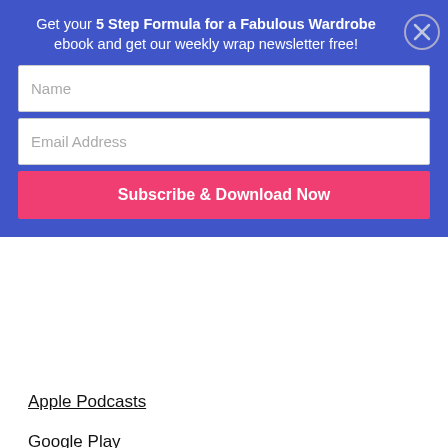[Figure (other): Blue subscription banner with form fields and close button. Text: 'Get your 5 Step Formula for a Fabulous Wardrobe ebook and get our weekly wrap newsletter free!' with Name field, Email Address field, and Subscribe & Download Now button. Close (X) button top right.]
Apple Podcasts
Google Play
Stitcher
Send Me Your Colour and Style Questions
Please do email me your colour and style questions to answer on upcoming videos!